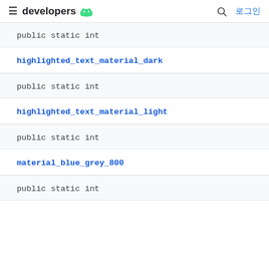developers [android logo] [search] 로그인
public static int
highlighted_text_material_dark
public static int
highlighted_text_material_light
public static int
material_blue_grey_800
public static int